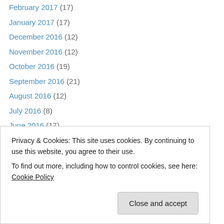February 2017 (17)
January 2017 (17)
December 2016 (12)
November 2016 (12)
October 2016 (19)
September 2016 (21)
August 2016 (12)
July 2016 (8)
June 2016 (17)
May 2016 (15)
April 2016 (19)
March 2016 (17)
February 2016 (8)
January 2016 (19)
June 2015 (7)
Privacy & Cookies: This site uses cookies. By continuing to use this website, you agree to their use. To find out more, including how to control cookies, see here: Cookie Policy
Close and accept